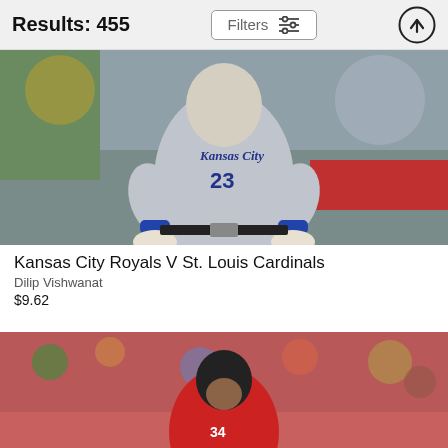Results: 455
Filters
[Figure (photo): Baseball player wearing Kansas City Royals jersey number 23, running on field]
Kansas City Royals V St. Louis Cardinals
Dilip Vishwanat
$9.62
[Figure (photo): Baseball player in red uniform with crowd in background]